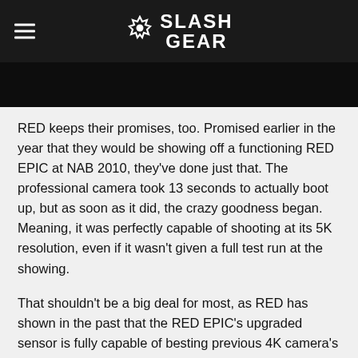SlashGear
[Figure (photo): Dark/black image bar, partial photo]
RED keeps their promises, too. Promised earlier in the year that they would be showing off a functioning RED EPIC at NAB 2010, they've done just that. The professional camera took 13 seconds to actually boot up, but as soon as it did, the crazy goodness began. Meaning, it was perfectly capable of shooting at its 5K resolution, even if it wasn't given a full test run at the showing.
That shouldn't be a big deal for most, as RED has shown in the past that the RED EPIC's upgraded sensor is fully capable of besting previous 4K camera's –the RED